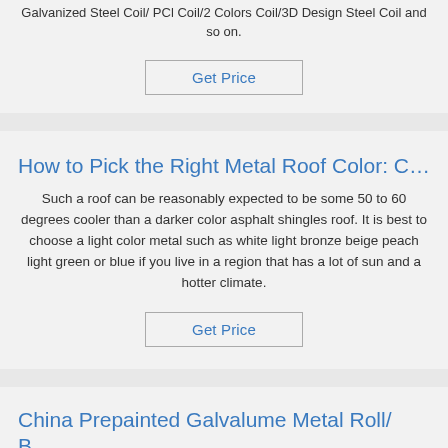Galvanized Steel Coil/ PCl Coil/2 Colors Coil/3D Design Steel Coil and so on.
Get Price
How to Pick the Right Metal Roof Color: C…
Such a roof can be reasonably expected to be some 50 to 60 degrees cooler than a darker color asphalt shingles roof. It is best to choose a light color metal such as white light bronze beige peach light green or blue if you live in a region that has a lot of sun and a hotter climate.
Get Price
China Prepainted Galvalume Metal Roll/ B…